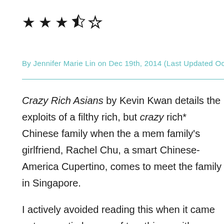[Figure (other): Star rating: 3.5 out of 5 stars (three filled stars, one half star, one empty star)]
By Jennifer Marie Lin on Dec 19th, 2014 (Last Updated Oc
Crazy Rich Asians by Kevin Kwan details the exploits of a filthy rich, but crazy rich* Chinese family when the a member family's girlfriend, Rachel Chu, a smart Chinese-America Cupertino, comes to meet the family in Singapore.

I actively avoided reading this when it came out, expectin be one of two things: either an over glamorization of ma omg look how awesome their lives are, like some sort o Girls) or it would be a humdrum caustic, biting takedown people are so awful, blah, blah, blah). But my book club